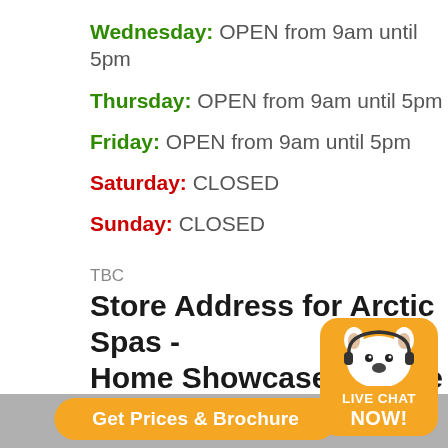Wednesday: OPEN from 9am until 5pm
Thursday: OPEN from 9am until 5pm
Friday: OPEN from 9am until 5pm
Saturday: CLOSED
Sunday: CLOSED
TBC
Store Address for Arctic Spas - Home Showcase Terrace
2809 Kalum St. Suite A,
Terrace,
British Columbia,
V8G 2M
Canada,
Get Prices & Brochure
[Figure (illustration): Orange rounded rectangle badge with a white polar bear/dog head icon and text LIVE CHAT NOW!]